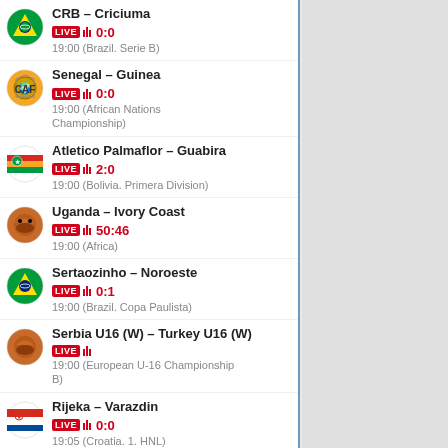CRB – Criciuma LIVE 0:0 19:00 (Brazil. Serie B)
Senegal – Guinea LIVE 0:0 19:00 (African Nations Championship)
Atletico Palmaflor – Guabira LIVE 2:0 19:00 (Bolivia. Primera Division)
Uganda – Ivory Coast LIVE 50:46 19:00 (Africa)
Sertaozinho – Noroeste LIVE 0:1 19:00 (Brazil. Copa Paulista)
Serbia U16 (W) – Turkey U16 (W) LIVE 19:00 (European U-16 Championship B)
Rijeka – Varazdin LIVE 0:0 19:05 (Croatia. 1. HNL)
Toronto – LA Angels LIVE 0:0 19:07 (MLB)
Daria Kasatkina – Daria Saville LIVE 19:10 (WTA. Granby)
Italy – Canada LIVE 1:0 19:15 (World Championship)